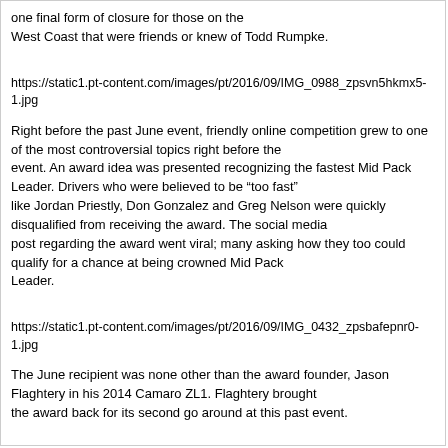one final form of closure for those on the West Coast that were friends or knew of Todd Rumpke.
https://static1.pt-content.com/images/pt/2016/09/IMG_0988_zpsvn5hkmx5-1.jpg
Right before the past June event, friendly online competition grew to one of the most controversial topics right before the event. An award idea was presented recognizing the fastest Mid Pack Leader. Drivers who were believed to be “too fast” like Jordan Priestly, Don Gonzalez and Greg Nelson were quickly disqualified from receiving the award. The social media post regarding the award went viral; many asking how they too could qualify for a chance at being crowned Mid Pack Leader.
https://static1.pt-content.com/images/pt/2016/09/IMG_0432_zpsbafepnr0-1.jpg
The June recipient was none other than the award founder, Jason Flaghtery in his 2014 Camaro ZL1. Flaghtery brought the award back for its second go around at this past event.
https://static1.pt-content.com/images/pt/2016/09/IMG_3691_zpsq9eo62wr-1.jpg
The Mid Pack Leader jumped around quite a bit both Saturday and Sunday, but the final recirpient of the second Mid Pack Leader event was Jeff Cox in his 2014 Camaro.
https://static1.pt-content.com/images/pt/2016/09/IMG_3740_zps4ddmdurl-1.jpg